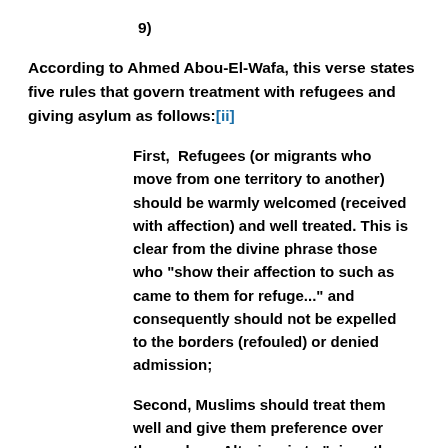9)
According to Ahmed Abou-El-Wafa, this verse states five rules that govern treatment with refugees and giving asylum as follows:[ii]
First,  Refugees (or migrants who move from one territory to another) should be warmly welcomed (received with affection) and well treated. This is clear from the divine phrase those who “show their affection to such as came to them for refuge...” and consequently should not be expelled to the borders (refouled) or denied admission;
Second, Muslims should treat them well and give them preference over themselves. Altruism is to “give others preference over oneself, in terms of one’s share of mundane stuff in anticipation of